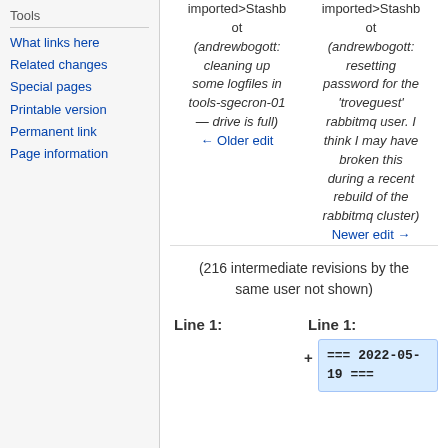Tools
What links here
Related changes
Special pages
Printable version
Permanent link
Page information
imported>Stashbot (andrewbogott: cleaning up some logfiles in tools-sgecron-01 — drive is full)
← Older edit
imported>Stashbot (andrewbogott: resetting password for the 'troveguest' rabbitmq user. I think I may have broken this during a recent rebuild of the rabbitmq cluster)
Newer edit →
(216 intermediate revisions by the same user not shown)
Line 1:	Line 1:
=== 2022-05-19 ===